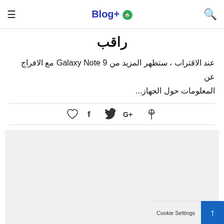Blog+ [logo icon]
راقب
عند الاقتراب ، ستظهر المزيد من Galaxy Note 9 مع الافراج عن المعلومات حول الجهاز...
[Figure (other): Social share bar with heart/like, Facebook, Twitter, Google+, Pinterest icons]
[Figure (other): Gray advertisement placeholder block]
Cookie Settings